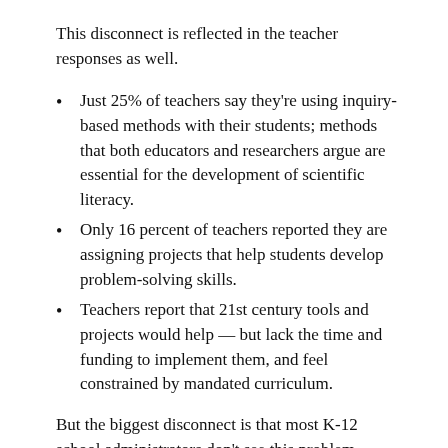This disconnect is reflected in the teacher responses as well.
Just 25% of teachers say they're using inquiry-based methods with their students; methods that both educators and researchers argue are essential for the development of scientific literacy.
Only 16 percent of teachers reported they are assigning projects that help students develop problem-solving skills.
Teachers report that 21st century tools and projects would help — but lack the time and funding to implement them, and feel constrained by mandated curriculum.
But the biggest disconnect is that most K-12 school administrators don't see this problem. Here's the percentage of each category that gave a passing grade to their school for preparing students for jobs of the